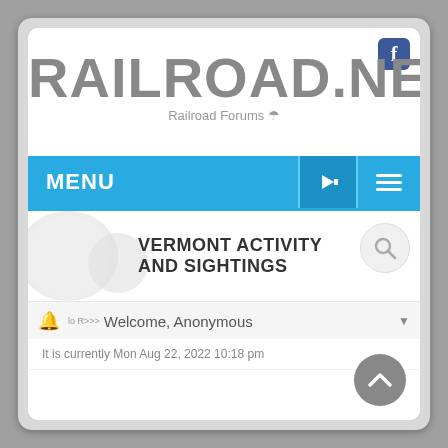[Figure (screenshot): Railroad.net website screenshot showing the site logo, menu bar, Vermont Activity and Sightings forum section header, welcome bar for anonymous user, and timestamp.]
RAILROAD.NET
Railroad Forums
MENU
VERMONT ACTIVITY AND SIGHTINGS
Welcome, Anonymous
It is currently Mon Aug 22, 2022 10:18 pm